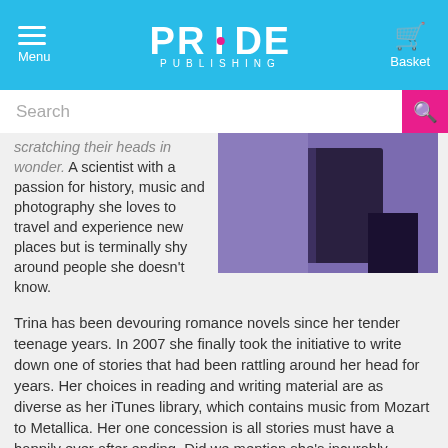PRIDE PUBLISHING — Menu | Basket
scratching their heads in wonder. A scientist with a passion for history, music and photography she loves to travel and experience new places but is terminally shy around people she doesn't know.
[Figure (photo): Dark purple book cover image, partial view showing a dark object against a purple background]
Trina has been devouring romance novels since her tender teenage years. In 2007 she finally took the initiative to write down one of stories that had been rattling around her head for years. Her choices in reading and writing material are as diverse as her iTunes library, which contains music from Mozart to Metallica. Her one concession is all stories must have a happily ever after ending. Did we mention she's incurably romantic?